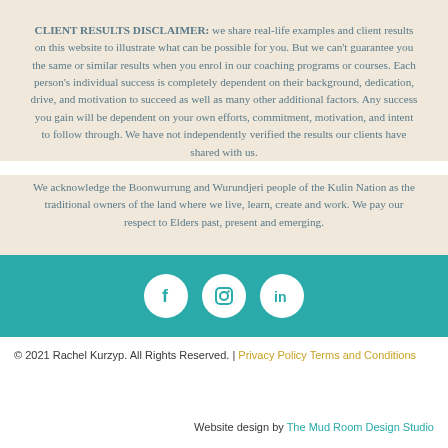CLIENT RESULTS DISCLAIMER: we share real-life examples and client results on this website to illustrate what can be possible for you. But we can't guarantee you the same or similar results when you enrol in our coaching programs or courses. Each person's individual success is completely dependent on their background, dedication, drive, and motivation to succeed as well as many other additional factors. Any success you gain will be dependent on your own efforts, commitment, motivation, and intent to follow through. We have not independently verified the results our clients have shared with us.
We acknowledge the Boonwurrung and Wurundjeri people of the Kulin Nation as the traditional owners of the land where we live, learn, create and work. We pay our respect to Elders past, present and emerging.
[Figure (infographic): Teal banner with three white circular social media icons: Facebook (f), Instagram (camera), LinkedIn (in)]
© 2021 Rachel Kurzyp. All Rights Reserved. | Privacy Policy Terms and Conditions
Website design by The Mud Room Design Studio